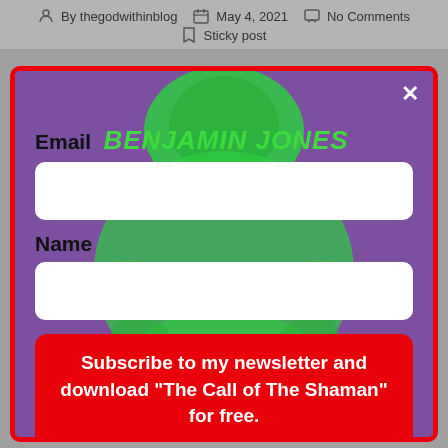By thegodwithinblog   May 4, 2021   No Comments   Sticky post
[Figure (screenshot): Newsletter signup modal with red border on purple background with green skull/brain figure illustration. Contains 'BENJAMIN JONES' title in green, Email and Name input fields, and a red Subscribe button.]
Email
BENJAMIN JONES
Name
Subscribe to my newsletter and download "The Call of The Shaman" for free.